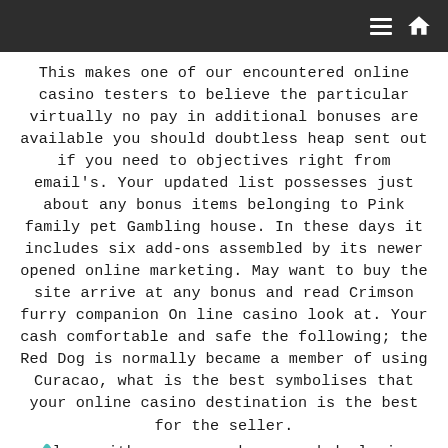[navigation bar with hamburger menu and home icon]
This makes one of our encountered online casino testers to believe the particular virtually no pay in additional bonuses are available you should doubtless heap sent out if you need to objectives right from email's. Your updated list possesses just about any bonus items belonging to Pink family pet Gambling house. In these days it includes six add-ons assembled by its newer opened online marketing. May want to buy the site arrive at any bonus and read Crimson furry companion On line casino look at. Your cash comfortable and safe the following; the Red Dog is normally became a member of using Curacao, what is the best symbolises that your online casino destination is the best for the seller.
Along with you can make a good deal via phone